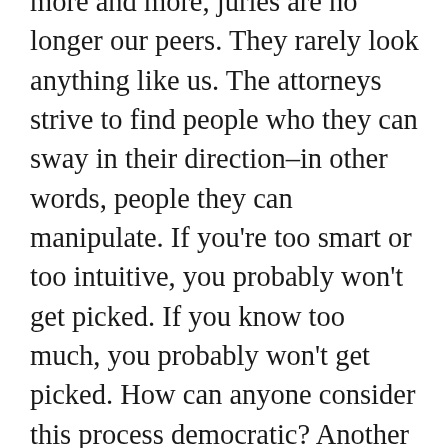more and more, juries are no longer our peers. They rarely look anything like us. The attorneys strive to find people who they can sway in their direction–in other words, people they can manipulate. If you're too smart or too intuitive, you probably won't get picked. If you know too much, you probably won't get picked. How can anyone consider this process democratic? Another thing that troubles me about jury duty is the wasted/down time. We report and we wait. We wait and wait some more. There is little efficiency afforded us. We live in a free country but try and leave when you've been called to serve on the jury. Just try it. You'll be held in contempt of court and